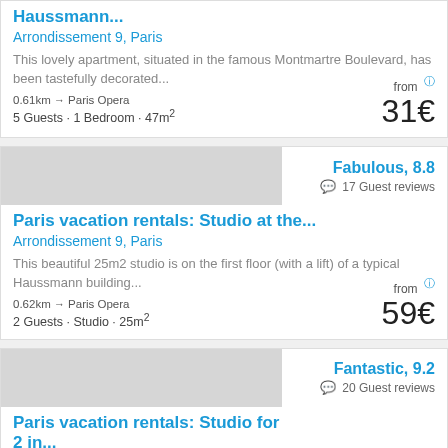Haussmann...
Arrondissement 9, Paris
This lovely apartment, situated in the famous Montmartre Boulevard, has been tastefully decorated...
0.61km → Paris Opera | 5 Guests · 1 Bedroom · 47m²
from 31€
[Figure (photo): Gray placeholder image for second listing]
Fabulous, 8.8 · 17 Guest reviews
Paris vacation rentals: Studio at the...
Arrondissement 9, Paris
This beautiful 25m2 studio is on the first floor (with a lift) of a typical Haussmann building...
0.62km → Paris Opera | 2 Guests · Studio · 25m²
from 59€
[Figure (photo): Gray placeholder image for third listing]
Fantastic, 9.2 · 20 Guest reviews
Paris vacation rentals: Studio for 2 in...